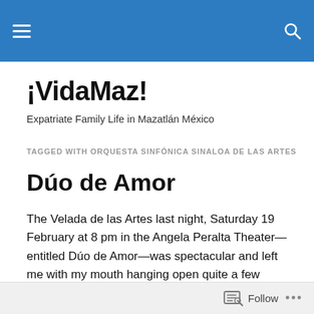¡VidaMaz! — navigation header bar
¡VidaMaz!
Expatriate Family Life in Mazatlán México
TAGGED WITH ORQUESTA SINFÓNICA SINALOA DE LAS ARTES
Dúo de Amor
The Velada de las Artes last night, Saturday 19 February at 8 pm in the Angela Peralta Theater—entitled Dúo de Amor—was spectacular and left me with my mouth hanging open quite a few times. The crowd was greeted in
Follow ...